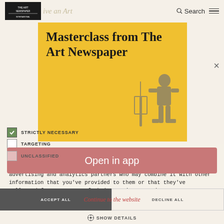Search (navigation header with logo)
[Figure (illustration): Yellow promotional banner with bold text 'Masterclass from The Art Newspaper' and a blue illustrated figure of a person with art equipment]
We use cookies to personalise content and ads, to provide social media features and to analyse our traffic. We also share information about your use of our site with our social media, advertising and analytics partners who may combine it with other information that you've provided to them or that they've collected from your use of their services. Read more
STRICTLY NECESSARY
TARGETING
UNCLASSIFIED
[Figure (screenshot): Pink 'Open in app' button overlay]
Anthropocene Project at the Photo London art fair, in the f...
ACCEPT ALL | Continue to the website | DECLINE ALL
SHOW DETAILS